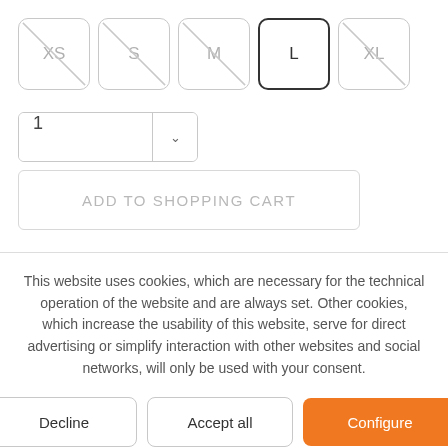[Figure (other): Size selector buttons: XS, S, M (all with diagonal slash/strikethrough), L (selected/active, no slash), XL (with diagonal slash)]
[Figure (other): Quantity dropdown selector showing value 1 with a chevron arrow]
[Figure (other): Add to shopping cart button (disabled/greyed out state)]
This website uses cookies, which are necessary for the technical operation of the website and are always set. Other cookies, which increase the usability of this website, serve for direct advertising or simplify interaction with other websites and social networks, will only be used with your consent.
[Figure (other): Cookie consent buttons: Decline, Accept all, Configure (orange)]